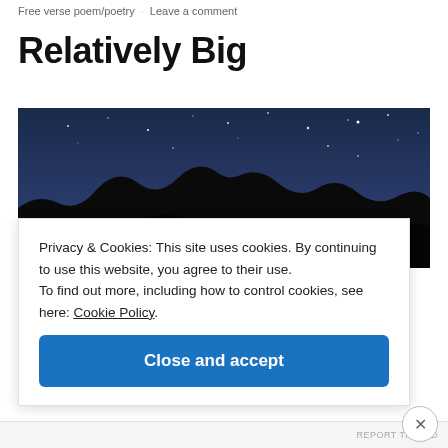Free verse poem/poetry  Leave a comment
Relatively Big
[Figure (photo): Night sky photo with stars visible and dark mountain silhouettes in the foreground against a deep blue sky.]
Privacy & Cookies: This site uses cookies. By continuing to use this website, you agree to their use.
To find out more, including how to control cookies, see here: Cookie Policy
Close and accept